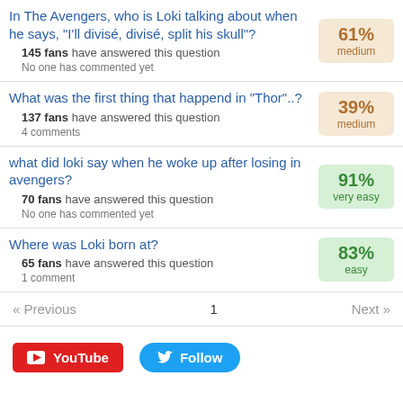In The Avengers, who is Loki talking about when he says, "I'll divisé, divisé, split his skull"? 145 fans have answered this question. No one has commented yet. 61% medium
What was the first thing that happend in "Thor"..? 137 fans have answered this question. 4 comments. 39% medium
what did loki say when he woke up after losing in avengers? 70 fans have answered this question. No one has commented yet. 91% very easy
Where was Loki born at? 65 fans have answered this question. 1 comment. 83% easy
« Previous   1   Next »
YouTube   Follow